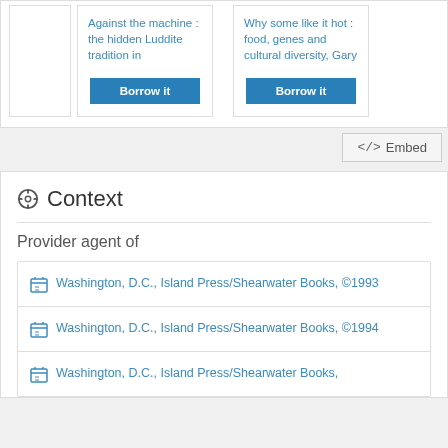Against the machine : the hidden Luddite tradition in
Borrow it
Why some like it hot : food, genes and cultural diversity, Gary
Borrow it
</> Embed
Context
Provider agent of
Washington, D.C., Island Press/Shearwater Books, ©1993
Washington, D.C., Island Press/Shearwater Books, ©1994
Washington, D.C., Island Press/Shearwater Books,